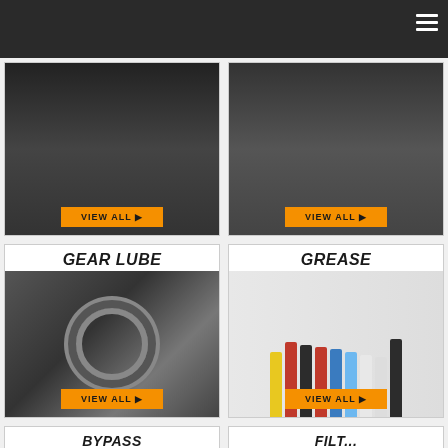Navigation menu - hamburger icon
[Figure (photo): Motorcycle engine components close-up with yellow cable, VIEW ALL button]
[Figure (photo): Hand working on motorcycle engine with screwdriver, VIEW ALL button]
[Figure (photo): GEAR LUBE - interlocking metal gears, VIEW ALL button]
[Figure (photo): GREASE - multiple AMSOIL grease tubes/cartridges, VIEW ALL button]
[Figure (photo): BYPASS FILTRATION - partial card at bottom left]
[Figure (photo): FILTERS AND... - partial card at bottom right with Message Us overlay]
Message Us